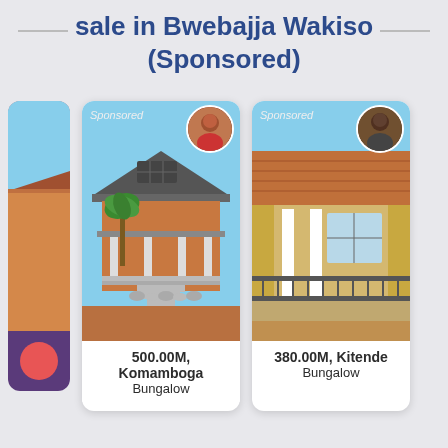sale in Bwebajja Wakiso (Sponsored)
[Figure (photo): Three property listing cards showing houses for sale in Uganda. Left partial card shows a house with orange/red tones. Center card shows a bungalow in Komamboga with solar panel, price 500.00M. Right card shows a bungalow in Kitende, price 380.00M. Both main cards have 'Sponsored' label and agent avatar photos.]
500.00M, Komamboga Bungalow
380.00M, Kitende Bungalow